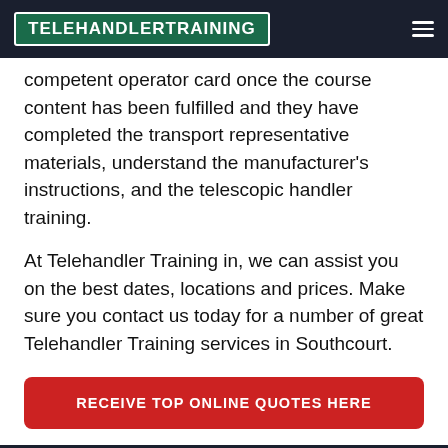TELEHANDLERTRAINING
competent operator card once the course content has been fulfilled and they have completed the transport representative materials, understand the manufacturer's instructions, and the telescopic handler training.
At Telehandler Training in, we can assist you on the best dates, locations and prices. Make sure you contact us today for a number of great Telehandler Training services in Southcourt.
RECEIVE TOP ONLINE QUOTES HERE
Enquire Now